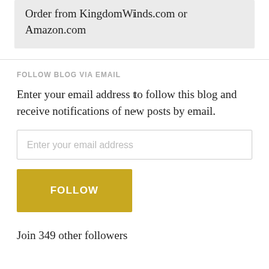Order from KingdomWinds.com or Amazon.com
FOLLOW BLOG VIA EMAIL
Enter your email address to follow this blog and receive notifications of new posts by email.
Enter your email address
FOLLOW
Join 349 other followers